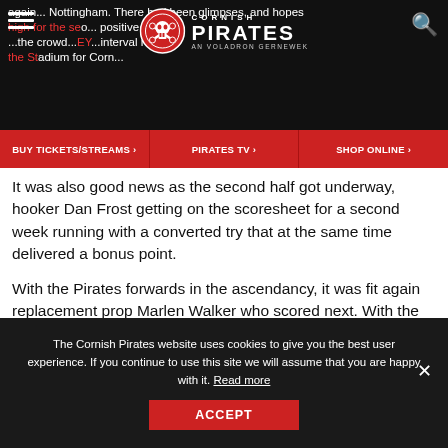again... Nottingham. There had been glimpses, and hopes high for the season... positive add... the crowd... interval reference... the Stadium for Cornwall... a lift CORNISH PIRATES AN VOLADRON GERNEWEK
BUY TICKETS/STREAMS > | PIRATES TV > | SHOP ONLINE >
It was also good news as the second half got underway, hooker Dan Frost getting on the scoresheet for a second week running with a converted try that at the same time delivered a bonus point.
With the Pirates forwards in the ascendancy, it was fit again replacement prop Marlen Walker who scored next. With the conversion to follow, Cargill also now had the chance to reach a personal 500 points milestone for the club, which he commendably did.
Further tries followed for man of the match James McRae – the flanker making yards aplenty during the afternoon – replacement fly-half Javier Rojas Alvarez and wing Matt Evans.
The Cornish Pirates website uses cookies to give you the best user experience. If you continue to use this site we will assume that you are happy with it. Read more
ACCEPT